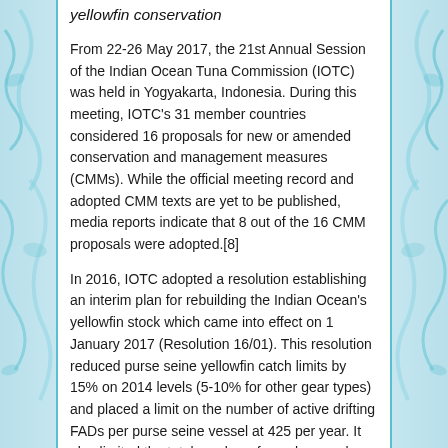yellowfin conservation
From 22-26 May 2017, the 21st Annual Session of the Indian Ocean Tuna Commission (IOTC) was held in Yogyakarta, Indonesia. During this meeting, IOTC's 31 member countries considered 16 proposals for new or amended conservation and management measures (CMMs). While the official meeting record and adopted CMM texts are yet to be published, media reports indicate that 8 out of the 16 CMM proposals were adopted.[8]
In 2016, IOTC adopted a resolution establishing an interim plan for rebuilding the Indian Ocean's yellowfin stock which came into effect on 1 January 2017 (Resolution 16/01). This resolution reduced purse seine yellowfin catch limits by 15% on 2014 levels (5-10% for other gear types) and placed a limit on the number of active drifting FADs per purse seine vessel at 425 per year. It also limited the total number of supply vessels